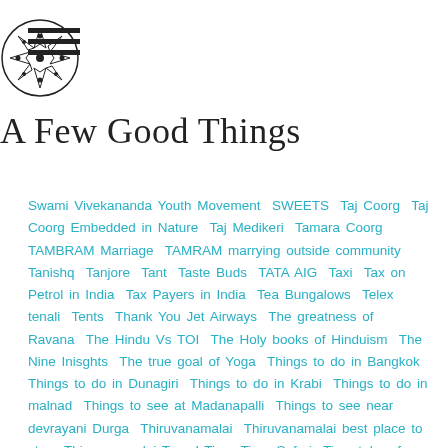A Few Good Things
Swami Vivekananda Youth Movement SWEETS Taj Coorg Taj Coorg Embedded in Nature Taj Medikeri Tamara Coorg TAMBRAM Marriage TAMRAM marrying outside community Tanishq Tanjore Tant Taste Buds TATA AIG Taxi Tax on Petrol in India Tax Payers in India Tea Bungalows Telex tenali Tents Thank You Jet Airways The greatness of Ravana The Hindu Vs TOI The Holy books of Hinduism The Nine Inisghts The true goal of Yoga Things to do in Bangkok Things to do in Dunagiri Things to do in Krabi Things to do in malnad Things to see at Madanapalli Things to see near devrayani Durga Thiruvanamalai Thiruvanamalai best place to stay Thiruvanamalai Travel Tips Tiger Safari Time taken for Antarganga trek Time to see temples Tintin Tips for early retirement Tips for Indian tourists to Paris Tips on Khajuraho Travel Tips on Krabi Tips to be more Creative Tips to study in US for Undergrad Tipu summer palace Tiruchi in 3 days Tirumala Tirupathi Tirupathi Travel Tips Titos TK Tom & Jerry toughest and easiest treks Bangalore Tps for Joining UCLA admission Traditional restaurants Bangalore Trainer travel Travel Advisory offbeat resorts Travel Tips to kailash Trek Treks around Bangalore Trek to Madhugiri Trek to Madhugiri fort trek to Bhimana Tribal Health centre Sittikiri Trip to